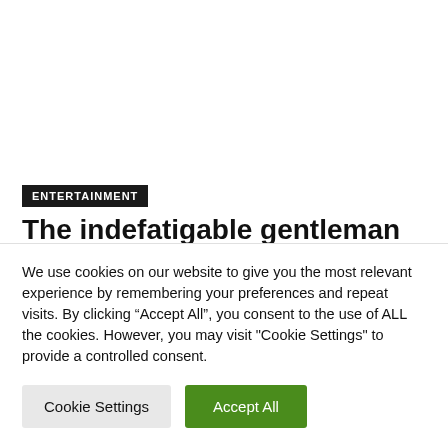ENTERTAINMENT
The indefatigable gentleman Paul McCartney enchants the Glastonbury
We use cookies on our website to give you the most relevant experience by remembering your preferences and repeat visits. By clicking “Accept All”, you consent to the use of ALL the cookies. However, you may visit "Cookie Settings" to provide a controlled consent.
Cookie Settings
Accept All